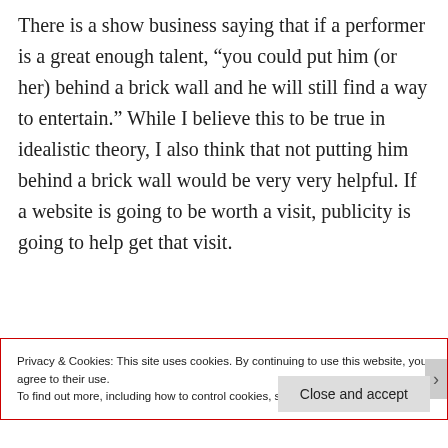There is a show business saying that if a performer is a great enough talent, “you could put him (or her) behind a brick wall and he will still find a way to entertain.” While I believe this to be true in idealistic theory, I also think that not putting him behind a brick wall would be very very helpful. If a website is going to be worth a visit, publicity is going to help get that visit.
Privacy & Cookies: This site uses cookies. By continuing to use this website, you agree to their use.
To find out more, including how to control cookies, see here: Cookie Policy
Close and accept